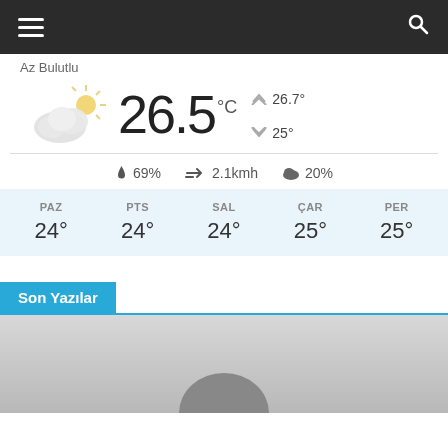Navigation bar with hamburger menu and search icon
Az Bulutlu
[Figure (infographic): Weather widget showing partly cloudy icon, 26.5°C temperature, high of 26.7°, low of 25°, humidity 69%, wind 2.1kmh, cloud coverage 20%, and 5-day forecast: PAZ 24°, PTS 24°, SAL 24°, ÇAR 25°, PER 25°]
Son Yazılar
[Figure (photo): Partially visible article image with grey gradient background]